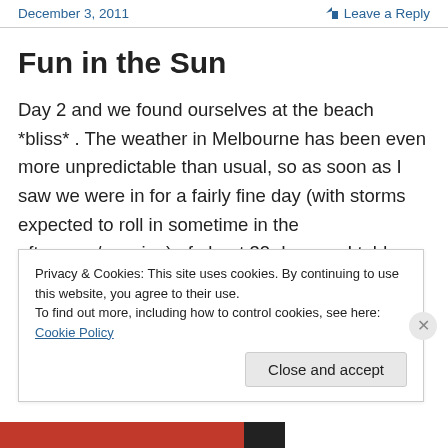December 3, 2011    Leave a Reply
Fun in the Sun
Day 2 and we found ourselves at the beach *bliss* . The weather in Melbourne has been even more unpredictable than usual, so as soon as I saw we were in for a fairly fine day (with storms expected to roll in sometime in the afternoon/evening) of about 32 degrees I told Trystan that we would indeed head to the beach (he'd been asking for a while!). I put the word out for anyone wishing to join us
Privacy & Cookies: This site uses cookies. By continuing to use this website, you agree to their use.
To find out more, including how to control cookies, see here: Cookie Policy
Close and accept